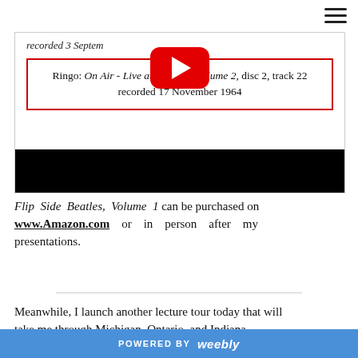[Figure (screenshot): YouTube video embed showing a red-bordered text box. Top partial text: 'recorded 3 Septem...' and the red box reads: 'Ringo: On Air - Live at the BBC, volume 2, disc 2, track 22 recorded 17 November 1964'. A YouTube play button overlay is visible. Bottom section is black.]
Flip Side Beatles, Volume 1 can be purchased on www.Amazon.com or in person after my presentations.
Meanwhile, I launch another lecture tour today that will take me through Michigan, Ontario, and Indiana...